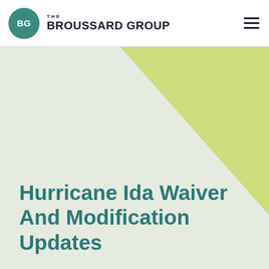THE BROUSSARD GROUP
[Figure (illustration): Hero banner with light sage green background and a yellow-green geometric triangle shape in the upper right corner]
Hurricane Ida Waiver And Modification Updates